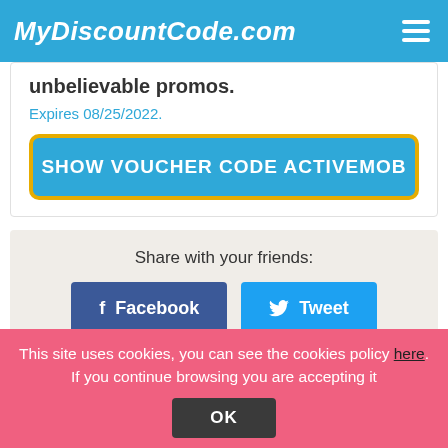MyDiscountCode.com
unbelievable promos.
Expires 08/25/2022.
SHOW VOUCHER CODE ACTIVEMOB
Share with your friends:
Facebook
Tweet
Google+
This site uses cookies, you can see the cookies policy here. If you continue browsing you are accepting it
OK